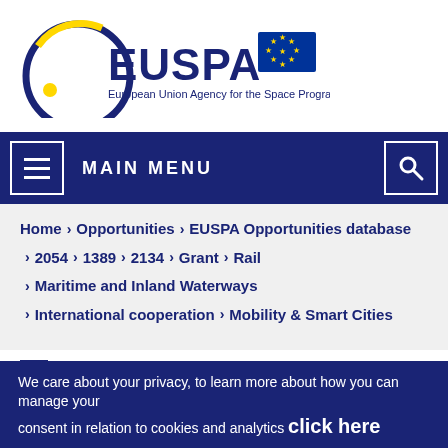[Figure (logo): EUSPA - European Union Agency for the Space Programme logo with EU flag]
MAIN MENU
Home > Opportunities > EUSPA Opportunities database > 2054 > 1389 > 2134 > Grant > Rail > Maritime and Inland Waterways > International cooperation > Mobility & Smart Cities
We care about your privacy, to learn more about how you can manage your consent in relation to cookies and analytics click here